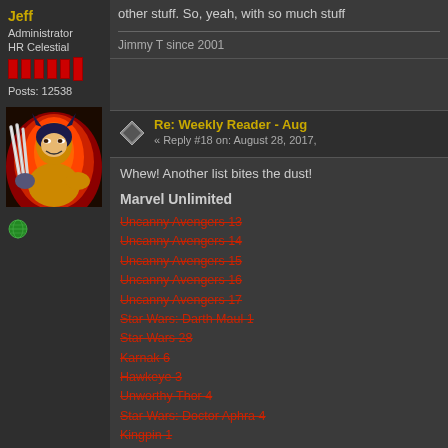other stuff. So, yeah, with so much stuff...
Jimmy T since 2001
Jeff
Administrator
HR Celestial
Posts: 12538
[Figure (illustration): Wolverine comic art - character with claws extended, yellow costume, red background]
[Figure (other): Green globe/online icon]
[Figure (other): Post reply icon - diamond/bookmark shape]
Re: Weekly Reader - Aug
« Reply #18 on: August 28, 2017,
Whew! Another list bites the dust!
Marvel Unlimited
Uncanny Avengers 13
Uncanny Avengers 14
Uncanny Avengers 15
Uncanny Avengers 16
Uncanny Avengers 17
Star Wars: Darth Maul 1
Star Wars 28
Karnak 6
Hawkeye 3
Unworthy Thor 4
Star Wars: Doctor Aphra 4
Kingpin 1
Inhumans vs X-Men 4